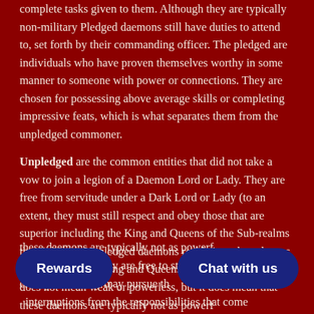complete tasks given to them. Although they are typically non-military Pledged daemons still have duties to attend to, set forth by their commanding officer. The pledged are individuals who have proven themselves worthy in some manner to someone with power or connections. They are chosen for possessing above average skills or completing impressive feats, which is what separates them from the unpledged commoner.
Unpledged are the common entities that did not take a vow to join a legion of a Daemon Lord or Lady. They are free from servitude under a Dark Lord or Lady (to an extent, they must still respect and obey those that are superior including the King and Queens of the Sub-realms they inhabit). Unpledged daemons reside in sub-realms as residents that the King and Queens rule over. Unpledged does not mean weak or powerless, but it does mean that these daemons are typically not as powerful as those in ranks. However, they are free to study whatever they like. They may pursue their interests without interruptions from the responsibilities that come with belonging to a legion, thus they may devote more